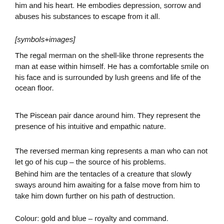him and his heart. He embodies depression, sorrow and abuses his substances to escape from it all.
[symbols+images]
The regal merman on the shell-like throne represents the man at ease within himself. He has a comfortable smile on his face and is surrounded by lush greens and life of the ocean floor.
The Piscean pair dance around him. They represent the presence of his intuitive and empathic nature.
The reversed merman king represents a man who can not let go of his cup – the source of his problems.
Behind him are the tentacles of a creature that slowly sways around him awaiting for a false move from him to take him down further on his path of destruction.
Colour: gold and blue – royalty and command.